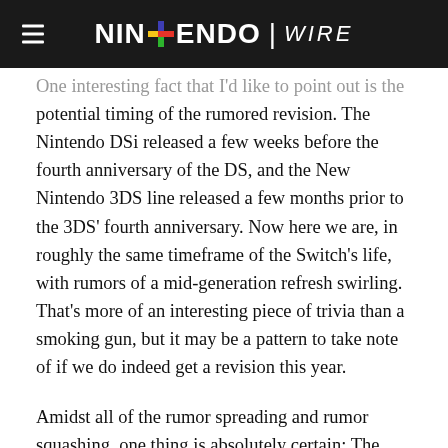Nintendo Wire
One interesting fact that I'd like to point out is the potential timing of the rumored revision. The Nintendo DSi released a few weeks before the fourth anniversary of the DS, and the New Nintendo 3DS line released a few months prior to the 3DS' fourth anniversary. Now here we are, in roughly the same timeframe of the Switch's life, with rumors of a mid-generation refresh swirling. That's more of an interesting piece of trivia than a smoking gun, but it may be a pattern to take note of if we do indeed get a revision this year.
Amidst all of the rumor spreading and rumor squashing, one thing is absolutely certain: The Switch is powerful enough and more than